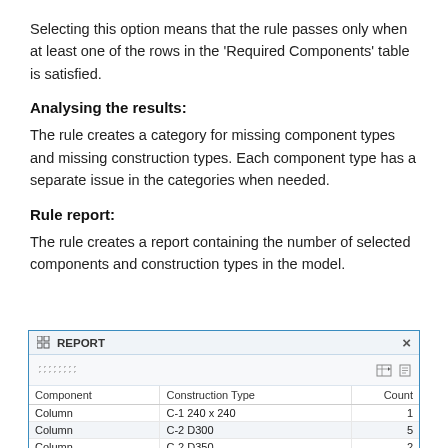Selecting this option means that the rule passes only when at least one of the rows in the 'Required Components' table is satisfied.
Analysing the results:
The rule creates a category for missing component types and missing construction types. Each component type has a separate issue in the categories when needed.
Rule report:
The rule creates a report containing the number of selected components and construction types in the model.
[Figure (screenshot): A REPORT dialog window showing a table with columns: Component, Construction Type, Count. Rows include: Column / C-1 240 x 240 / 1, Column / C-2 D300 / 5, Column / C-2 D350 / 2, Column / C-4 D200 / 23, Column / Column A / 960, Door / D1 12... / 01]